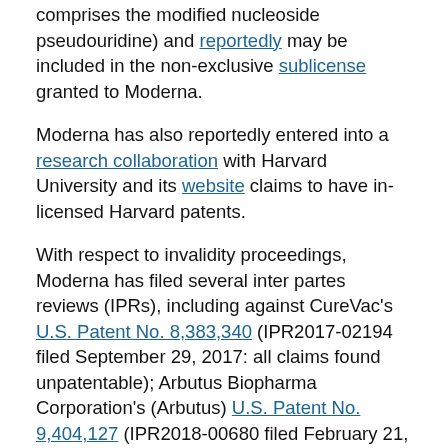comprises the modified nucleoside pseudouridine) and reportedly may be included in the non-exclusive sublicense granted to Moderna.
Moderna has also reportedly entered into a research collaboration with Harvard University and its website claims to have in-licensed Harvard patents.
With respect to invalidity proceedings, Moderna has filed several inter partes reviews (IPRs), including against CureVac's U.S. Patent No. 8,383,340 (IPR2017-02194 filed September 29, 2017: all claims found unpatentable); Arbutus Biopharma Corporation's (Arbutus) U.S. Patent No. 9,404,127 (IPR2018-00680 filed February 21, 2018: all claims found unpatentable); Arbutus' U.S. Patent No. 9,364,435 (IPR2018-00739 filed March 5, 2018: all claims ...